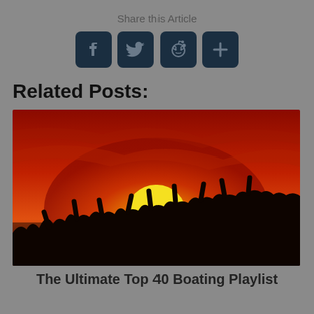Share this Article
[Figure (infographic): Social sharing icons: Facebook, Twitter, Reddit, and a plus/more button, all in dark navy rounded square buttons]
Related Posts:
[Figure (photo): Silhouette of a crowd of people with arms raised at a sunset/outdoor party, with a large sun in the background and a red-orange sky]
The Ultimate Top 40 Boating Playlist